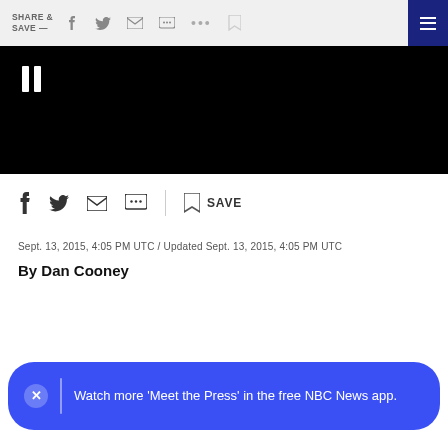SHARE & SAVE —
[Figure (screenshot): Black video player area with pause button (two vertical white bars) in top-left]
[Figure (screenshot): Social share icons row: Facebook, Twitter, Email, Message, bookmark/SAVE]
Sept. 13, 2015, 4:05 PM UTC / Updated Sept. 13, 2015, 4:05 PM UTC
By Dan Cooney
Watch more 'Meet the Press' in the free NBC News app.